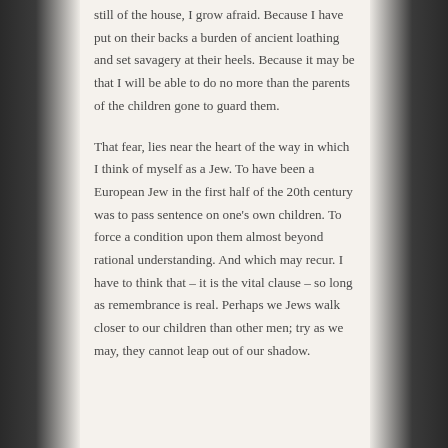still of the house, I grow afraid. Because I have put on their backs a burden of ancient loathing and set savagery at their heels. Because it may be that I will be able to do no more than the parents of the children gone to guard them.
That fear, lies near the heart of the way in which I think of myself as a Jew. To have been a European Jew in the first half of the 20th century was to pass sentence on one's own children. To force a condition upon them almost beyond rational understanding. And which may recur. I have to think that – it is the vital clause – so long as remembrance is real. Perhaps we Jews walk closer to our children than other men; try as we may, they cannot leap out of our shadow.